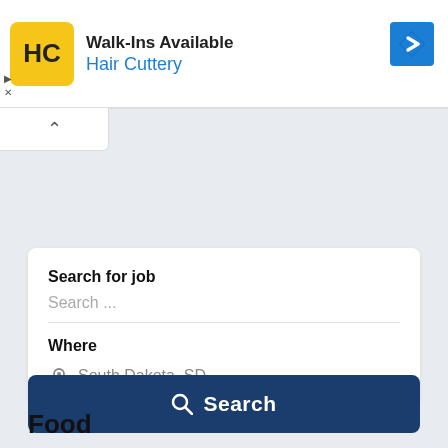[Figure (screenshot): Hair Cuttery advertisement banner with HC logo, 'Walk-Ins Available' heading, 'Hair Cuttery' brand name in blue, navigation arrow icon, and ad controls (play and close buttons)]
[Figure (screenshot): Collapse/expand tab with upward chevron arrow]
Search for job
Search ...
Where
South Dakota, SD
Search
Food